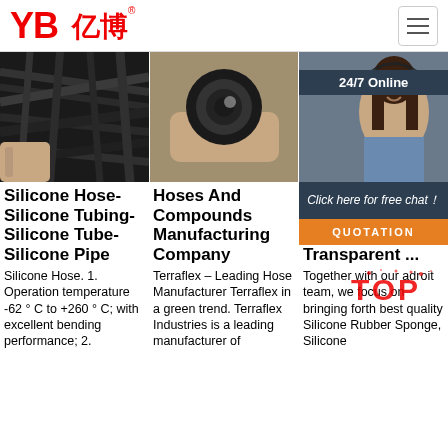[Figure (logo): YB亿博 logo in red with registered trademark symbol]
[Figure (photo): Close-up of black silicone hoses/tubing bundle]
[Figure (photo): Close-up of a black rubber hose end held in hand]
[Figure (photo): Customer service representative with headset, 24/7 Online banner, Click here for free chat, QUOTATION button overlay]
Silicone Hose- Silicone Tubing- Silicone Tube- Silicone Pipe
Silicone Hose. 1. Operation temperature -62 ° C to +260 ° C; with excellent bending performance; 2.
Hoses And Compounds Manufacturing Company
Terraflex – Leading Hose Manufacturer Terraflex in a green trend. Terraflex Industries is a leading manufacturer of
Silicone Rubber Sponge Manufacturer Transparent ...
Together with our adroit team, we focus on bringing forth best quality Silicone Rubber Sponge, Silicone